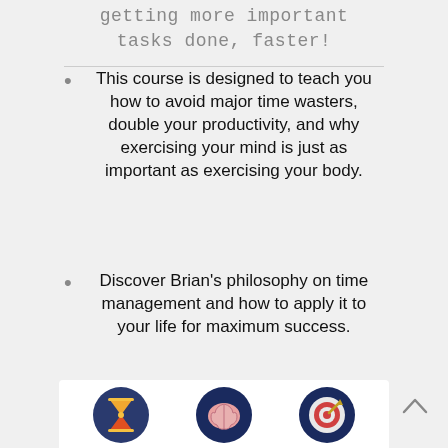getting more important tasks done, faster!
This course is designed to teach you how to avoid major time wasters, double your productivity, and why exercising your mind is just as important as exercising your body.
Discover Brian's philosophy on time management and how to apply it to your life for maximum success.
[Figure (illustration): Three circular icons at the bottom: hourglass icon, brain icon, and target/bullseye icon]